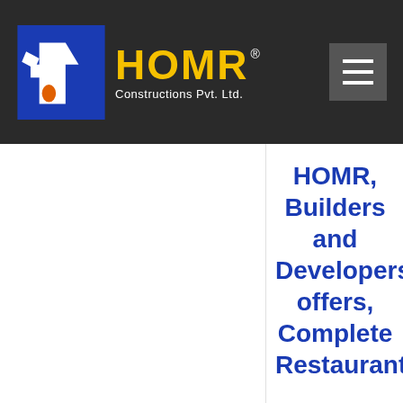[Figure (logo): HOMR Constructions Pvt. Ltd. logo with house icon and yellow HOMR text on dark background header bar with hamburger menu icon]
HOMR, Builders and Developers, offers, Complete Restaurant